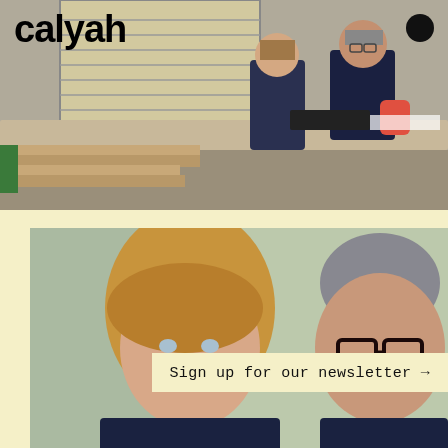[Figure (photo): Two people in dark clothing working together at a large workshop table with lumber and materials in an industrial room with windows]
calyah
[Figure (photo): Close-up portrait of a young woman with long brown hair and a middle-aged man with glasses and mustache looking at something]
Sign up for our newsletter →